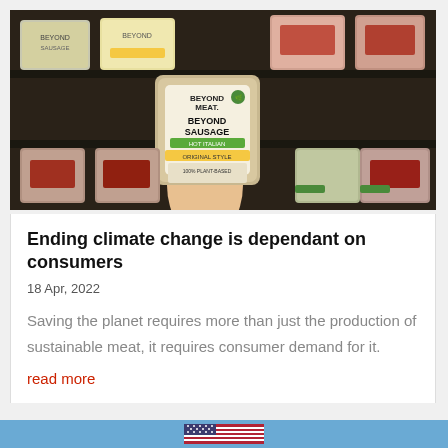[Figure (photo): A hand holding a package of Beyond Meat Beyond Sausage in a grocery store meat aisle, with various meat products visible on shelves in the background.]
Ending climate change is dependant on consumers
18 Apr, 2022
Saving the planet requires more than just the production of sustainable meat, it requires consumer demand for it.
read more
[Figure (illustration): US flag emoji displayed in footer bar]